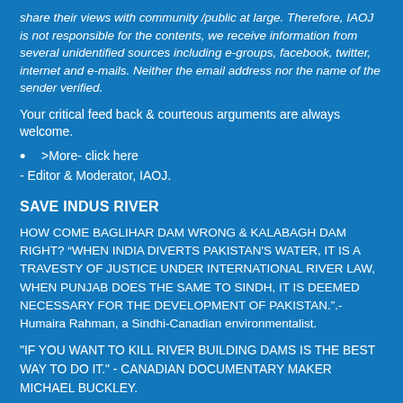share their views with community /public at large. Therefore, IAOJ is not responsible for the contents, we receive information from several unidentified sources including e-groups, facebook, twitter, internet and e-mails. Neither the email address nor the name of the sender verified.
Your critical feed back & courteous arguments are always welcome.
>More- click here
- Editor & Moderator, IAOJ.
SAVE INDUS RIVER
HOW COME BAGLIHAR DAM WRONG & KALABAGH DAM RIGHT? “WHEN INDIA DIVERTS PAKISTAN'S WATER, IT IS A TRAVESTY OF JUSTICE UNDER INTERNATIONAL RIVER LAW, WHEN PUNJAB DOES THE SAME TO SINDH, IT IS DEEMED NECESSARY FOR THE DEVELOPMENT OF PAKISTAN.”.- Humaira Rahman, a Sindhi-Canadian environmentalist.
"IF YOU WANT TO KILL RIVER BUILDING DAMS IS THE BEST WAY TO DO IT." - CANADIAN DOCUMENTARY MAKER MICHAEL BUCKLEY.